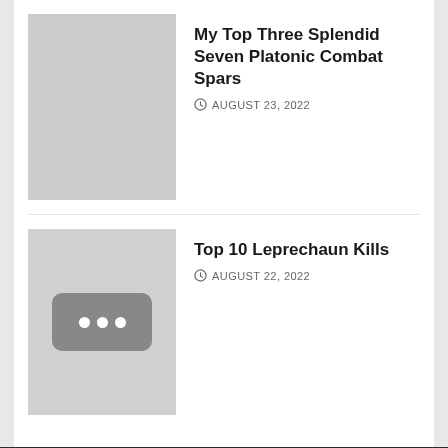[Figure (photo): Light gray placeholder thumbnail image for article]
My Top Three Splendid Seven Platonic Combat Spars
AUGUST 23, 2022
[Figure (photo): Gray placeholder thumbnail with a dark rounded rectangle containing three white dots (video placeholder icon)]
Top 10 Leprechaun Kills
AUGUST 22, 2022
Facebook page  Twitter  Music Fanatics Youtube channel